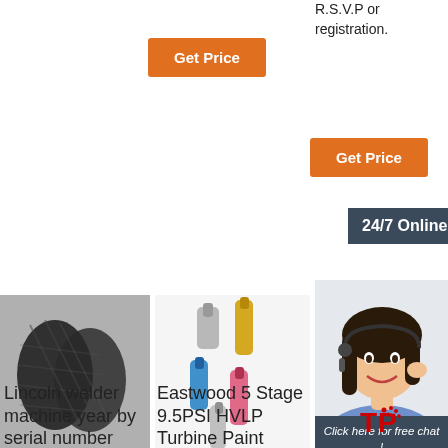R.S.V.P or registration.
[Figure (other): Orange 'Get Price' button (center top area)]
[Figure (other): Orange 'Get Price' button (right column)]
[Figure (other): 24/7 Online dark banner]
[Figure (photo): Black braided hose / cable]
[Figure (photo): Electrical connectors / terminal pins in blue, gold, pink colors]
[Figure (photo): Customer service agent woman with headset]
[Figure (other): Click here for free chat! with QUOTATION button and TOP logo]
Lincoln welder machine year by serial number
Eastwood 5 Stage 9.5PSI HVLP Turbine Paint System
2021-11-12u2002·u2002A direct successor to the Ray Gun known as the Ray Gun Mark II, appears in every